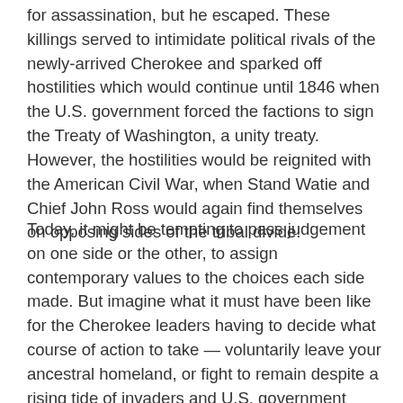for assassination, but he escaped. These killings served to intimidate political rivals of the newly-arrived Cherokee and sparked off hostilities which would continue until 1846 when the U.S. government forced the factions to sign the Treaty of Washington, a unity treaty. However, the hostilities would be reignited with the American Civil War, when Stand Watie and Chief John Ross would again find themselves on opposing sides of the tribal divide.
Today, it might be tempting to pass judgement on one side or the other, to assign contemporary values to the choices each side made. But imagine what it must have been like for the Cherokee leaders having to decide what course of action to take — voluntarily leave your ancestral homeland, or fight to remain despite a rising tide of invaders and U.S. government action to delegitimize your tribal sovereignty. The Cherokee of the